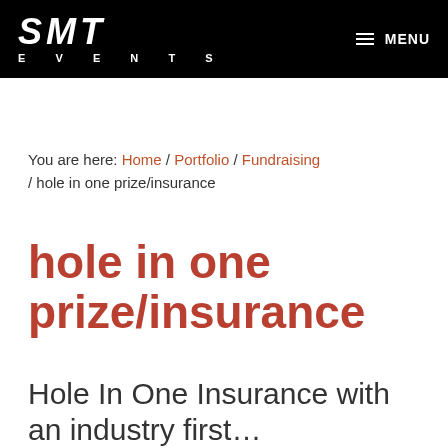SMT EVENTS  MENU
You are here: Home / Portfolio / Fundraising / hole in one prize/insurance
hole in one prize/insurance
Hole In One Insurance with an industry first...